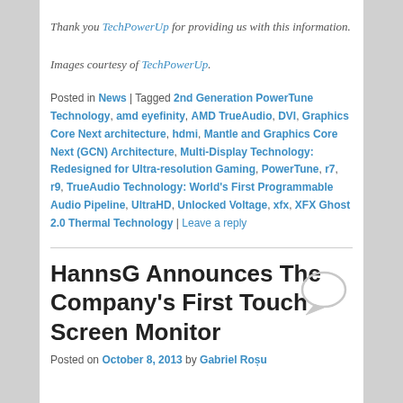Thank you TechPowerUp for providing us with this information.
Images courtesy of TechPowerUp.
Posted in News | Tagged 2nd Generation PowerTune Technology, amd eyefinity, AMD TrueAudio, DVI, Graphics Core Next architecture, hdmi, Mantle and Graphics Core Next (GCN) Architecture, Multi-Display Technology: Redesigned for Ultra-resolution Gaming, PowerTune, r7, r9, TrueAudio Technology: World's First Programmable Audio Pipeline, UltraHD, Unlocked Voltage, xfx, XFX Ghost 2.0 Thermal Technology | Leave a reply
HannsG Announces The Company's First Touch Screen Monitor
Posted on October 8, 2013 by Gabriel Roșu